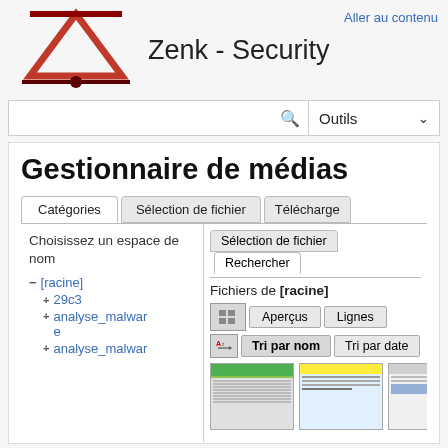[Figure (logo): Zenk-Security logo: red triangle with a horizontal line and a dot below it]
Zenk - Security
Aller au contenu
Outils
Gestionnaire de médias
Catégories
Sélection de fichier
Télécharge
Rechercher
Choisissez un espace de nom
Fichiers de [racine]
- [racine]
+ 29c3
+ analyse_malware
+ analyse_malwar
Aperçus   Lignes
Tri par nom   Tri par date
[Figure (screenshot): Two thumbnail screenshots of media files]